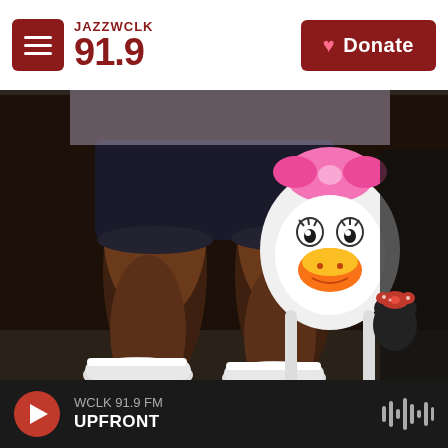JAZZ WCLK 91.9
[Figure (photo): Person standing wearing dark shorts and white sneakers, carrying a Daisy Duck character backpack (white with pink bow, Donald Duck face design) and a small Minnie Mouse accessory. Photo taken from waist down.]
WCLK 91.9 FM UPFRONT